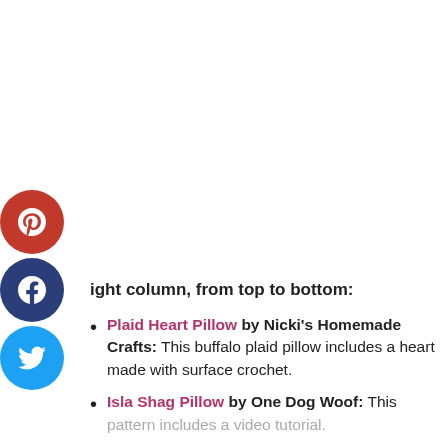[Figure (other): Social media sidebar with Pinterest (red), Facebook (dark blue), and Twitter (light blue) circular icon buttons stacked vertically on the left side of the page.]
ight column, from top to bottom:
Plaid Heart Pillow by Nicki's Homemade Crafts: This buffalo plaid pillow includes a heart made with surface crochet.
Isla Shag Pillow by One Dog Woof: This pattern includes a video tutorial.
Plaid Plant Basket by Whistle and Ivy: